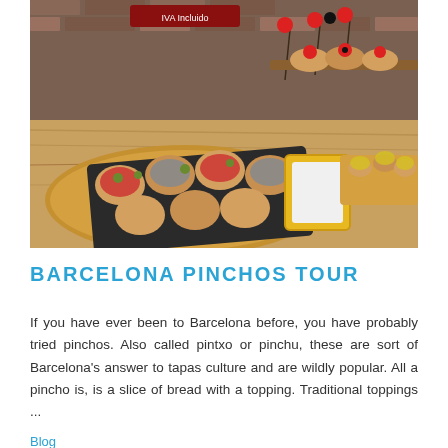[Figure (photo): A spread of pinchos (small bread-topped appetizers) on wooden and slate serving boards in a rustic bar setting. Various toppings including sardines, olives, tomatoes, and other ingredients are visible. Brick wall background.]
BARCELONA PINCHOS TOUR
If you have ever been to Barcelona before, you have probably tried pinchos. Also called pintxo or pinchu, these are sort of Barcelona's answer to tapas culture and are wildly popular. All a pincho is, is a slice of bread with a topping. Traditional toppings ...
Blog